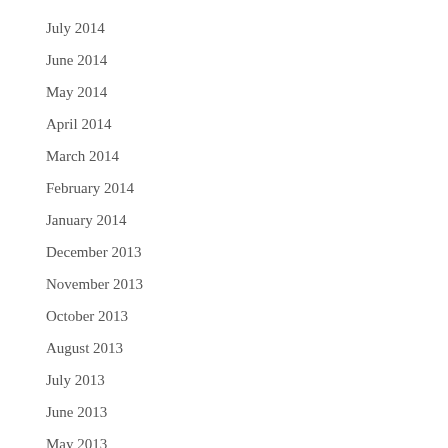July 2014
June 2014
May 2014
April 2014
March 2014
February 2014
January 2014
December 2013
November 2013
October 2013
August 2013
July 2013
June 2013
May 2013